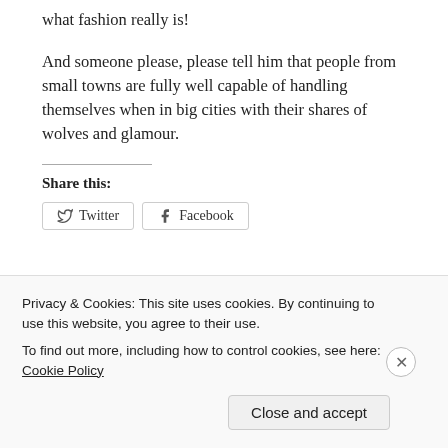what fashion really is!
And someone please, please tell him that people from small towns are fully well capable of handling themselves when in big cities with their shares of wolves and glamour.
Share this:
[Figure (other): Twitter and Facebook share buttons]
Privacy & Cookies: This site uses cookies. By continuing to use this website, you agree to their use.
To find out more, including how to control cookies, see here: Cookie Policy
Close and accept